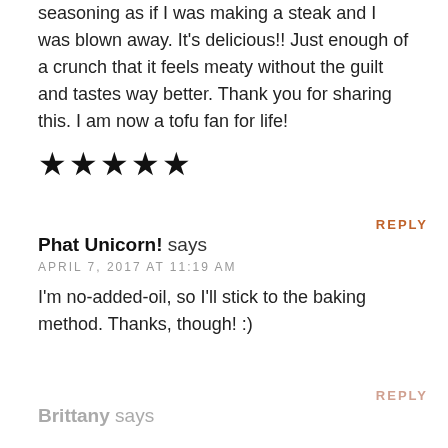seasoning as if I was making a steak and I was blown away. It's delicious!! Just enough of a crunch that it feels meaty without the guilt and tastes way better. Thank you for sharing this. I am now a tofu fan for life!
[Figure (other): Five filled star rating icons]
REPLY
Phat Unicorn! says
APRIL 7, 2017 AT 11:19 AM
I'm no-added-oil, so I'll stick to the baking method. Thanks, though! :)
REPLY
Brittany says